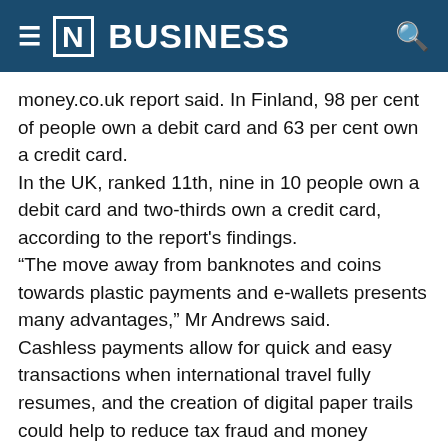[N] BUSINESS
money.co.uk report said. In Finland, 98 per cent of people own a debit card and 63 per cent own a credit card.
In the UK, ranked 11th, nine in 10 people own a debit card and two-thirds own a credit card, according to the report's findings.
“The move away from banknotes and coins towards plastic payments and e-wallets presents many advantages,” Mr Andrews said.
Cashless payments allow for quick and easy transactions when international travel fully resumes, and the creation of digital paper trails could help to reduce tax fraud and money